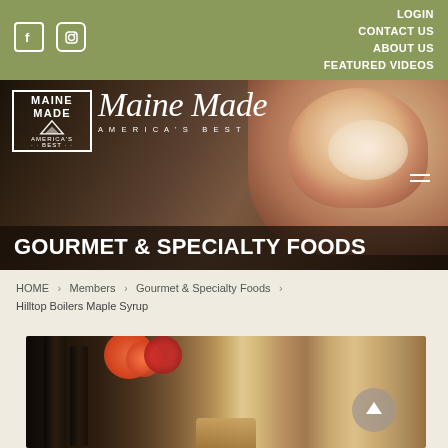LOGIN  CONTACT US  ABOUT US  FEATURED VIDEOS
[Figure (screenshot): Maine Made America's Best logo with cursive text over food photography banner, GOURMET & SPECIALTY FOODS title]
HOME > Members > Gourmet & Specialty Foods > Hilltop Boilers Maple Syrup
[Figure (photo): Product photo showing maple syrup bottles with orange and red flower decorations]